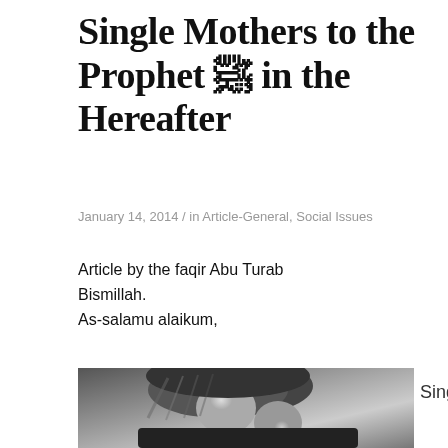Single Mothers to the Prophet ﷺ in the Hereafter
January 14, 2014 / in Article-General, Social Issues
Article by the faqir Abu Turab
Bismillah.
As-salamu alaikum,
[Figure (photo): Black and white photograph of a woman wearing a hijab/headscarf leaning her forehead against a young child's forehead in a tender embrace]
Single